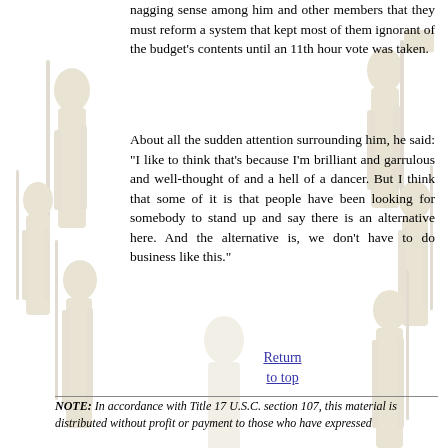nagging sense among him and other members that they must reform a system that kept most of them ignorant of the budget's contents until an 11th hour vote was taken.
About all the sudden attention surrounding him, he said: "I like to think that's because I'm brilliant and garrulous and well-thought of and a hell of a dancer. But I think that some of it is that people have been looking for somebody to stand up and say there is an alternative here. And the alternative is, we don't have to do business like this."
Return to top
NOTE: In accordance with Title 17 U.S.C. section 107, this material is distributed without profit or payment to those who have expressed